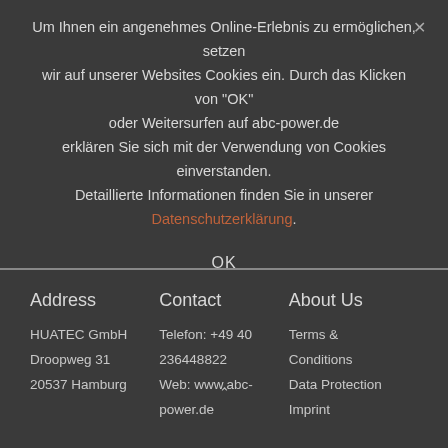Um Ihnen ein angenehmes Online-Erlebnis zu ermöglichen, setzen wir auf unserer Websites Cookies ein. Durch das Klicken von "OK" oder Weitersurfen auf abc-power.de erklären Sie sich mit der Verwendung von Cookies einverstanden. Detaillierte Informationen finden Sie in unserer Datenschutzerklärung.
OK
Address
Contact
About Us
HUATEC GmbH
Droopweg 31
20537 Hamburg
Telefon: +49 40 236448822
Web: www.abc-power.de
Terms & Conditions
Data Protection
Imprint